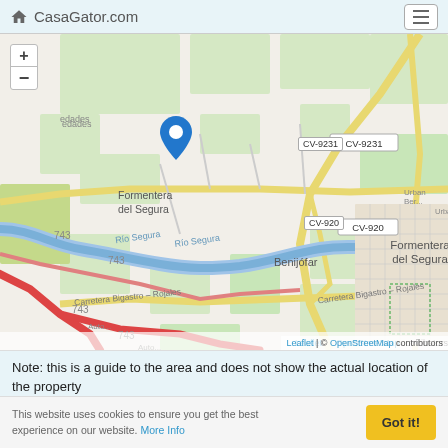CasaGator.com
[Figure (map): OpenStreetMap showing Formentera del Segura area with a blue location pin marker. Shows Río Segura river, roads CV-9231, CV-920, road 743, Carretera Bigastro-Rojales, and nearby town Benijófar. Map controls: zoom in (+) and zoom out (-) buttons top-left. Attribution: Leaflet | © OpenStreetMap contributors.]
Note: this is a guide to the area and does not show the actual location of the property
This website uses cookies to ensure you get the best experience on our website. More Info